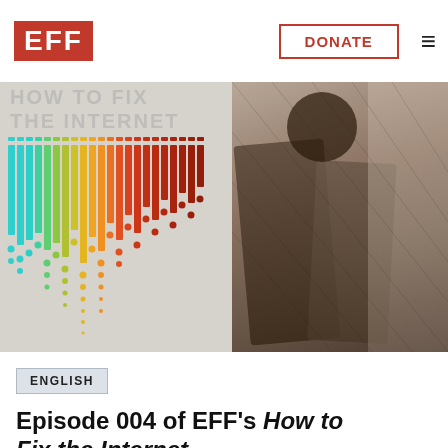EFF | DONATE
[Figure (illustration): EFF 'How to Fix the Internet' podcast artwork: left half shows colorful vertical bar code / dot pattern in cyan, green, yellow, orange gradient; right half shows a sepia-toned photo of a person from behind in a crowd.]
ENGLISH
Episode 004 of EFF's How to Fix the Internet
Cory Doctorow joins EFF hosts Cindy Cohn and Danny O'Brien as they discuss how large, established tech companies like Apple, Google, and Facebook can block interoperability in order to